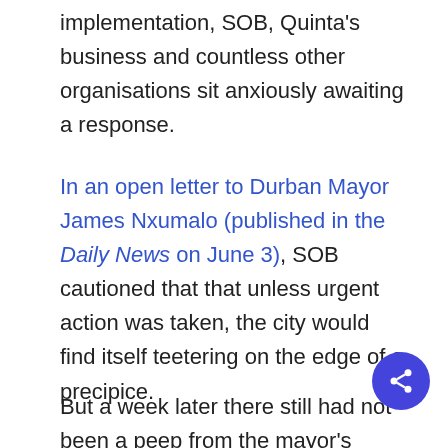implementation, SOB, Quinta's business and countless other organisations sit anxiously awaiting a response.
In an open letter to Durban Mayor James Nxumalo (published in the Daily News on June 3), SOB cautioned that that unless urgent action was taken, the city would find itself teetering on the edge of a precipice.
But a week later there still had not been a peep from the mayor's office. Now the city, it seemed, was no longer teetering but rather tumbling headlong into the